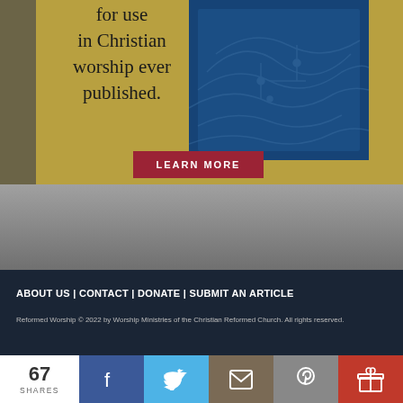[Figure (screenshot): Advertisement banner with yellow/gold background showing text 'for use in Christian worship ever published.' alongside a blue book cover image with topographic circuit pattern]
LEARN MORE
[Figure (screenshot): Gray gradient divider area]
ABOUT US | CONTACT | DONATE | SUBMIT AN ARTICLE
Reformed Worship © 2022 by Worship Ministries of the Christian Reformed Church. All rights reserved.
[Figure (screenshot): Social share bar showing: 67 SHARES, Facebook, Twitter, Email, Pinterest, Gift icons]